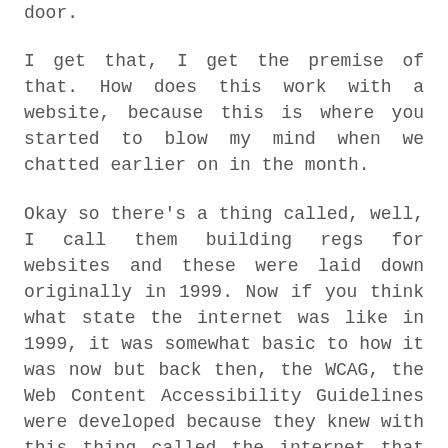door.
I get that, I get the premise of that. How does this work with a website, because this is where you started to blow my mind when we chatted earlier on in the month.
Okay so there's a thing called, well, I call them building regs for websites and these were laid down originally in 1999. Now if you think what state the internet was like in 1999, it was somewhat basic to how it was now but back then, the WCAG, the Web Content Accessibility Guidelines were developed because they knew with this thing called the internet that was growing rapidly, one of the groups of people who would use it most are people who perhaps couldn't get out of their house so often, so they actually laid down these these rules and they said, "Look, if you want your website to work for as many